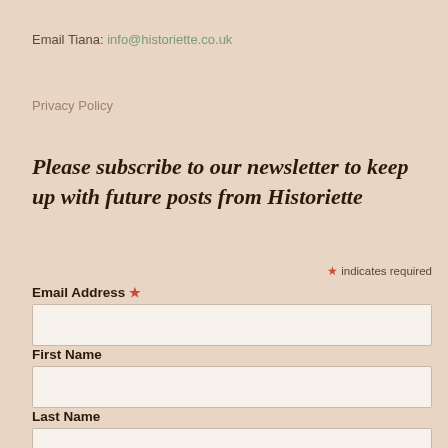Email Tiana: info@historiette.co.uk
Privacy Policy
Please subscribe to our newsletter to keep up with future posts from Historiette
* indicates required
Email Address *
First Name
Last Name